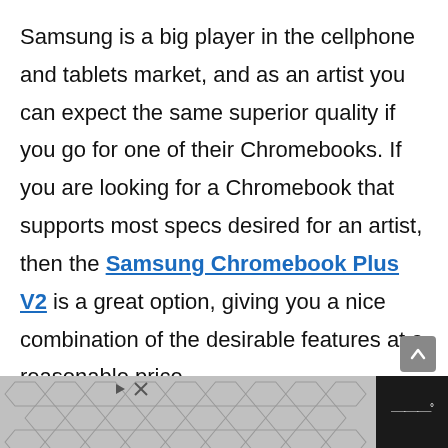Samsung is a big player in the cellphone and tablets market, and as an artist you can expect the same superior quality if you go for one of their Chromebooks. If you are looking for a Chromebook that supports most specs desired for an artist, then the Samsung Chromebook Plus V2 is a great option, giving you a nice combination of the desirable features at a reasonable price.

It has good build quality and a stylish and classy design with round corners composed of hard plastic. The lid of the Chromebook is a light tita... t. This